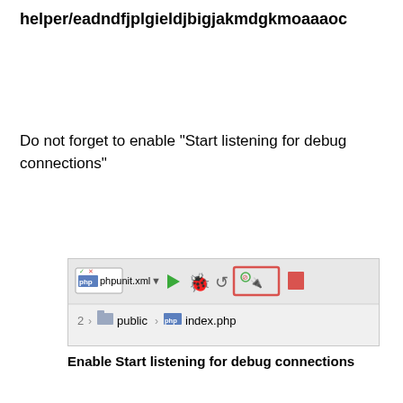helper/eadndfjplgieldjbigjakmdgkmoaaaoc
Do not forget to enable "Start listening for debug connections"
[Figure (screenshot): IDE toolbar screenshot showing phpunit.xml file tab with play, bug, reload, and debug connection buttons; the 'Start listening for debug connections' button is highlighted with a red border. Below shows breadcrumb: 2 > public > index.php]
Enable Start listening for debug connections